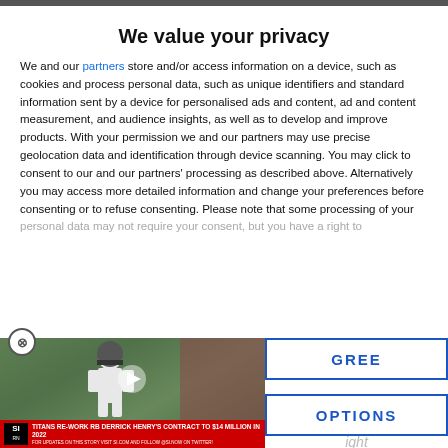We value your privacy
We and our partners store and/or access information on a device, such as cookies and process personal data, such as unique identifiers and standard information sent by a device for personalised ads and content, ad and content measurement, and audience insights, as well as to develop and improve products. With your permission we and our partners may use precise geolocation data and identification through device scanning. You may click to consent to our and our partners' processing as described above. Alternatively you may access more detailed information and change your preferences before consenting or to refuse consenting. Please note that some processing of your personal data may not require your consent, but you have a right to
[Figure (screenshot): Video player thumbnail showing a Titans NFL player at practice, with SI logo and headline: TITANS RE-WORK RB DERRICK HENRY'S CONTRACT TO $14 MILLION IN 2022]
GREE
OPTIONS